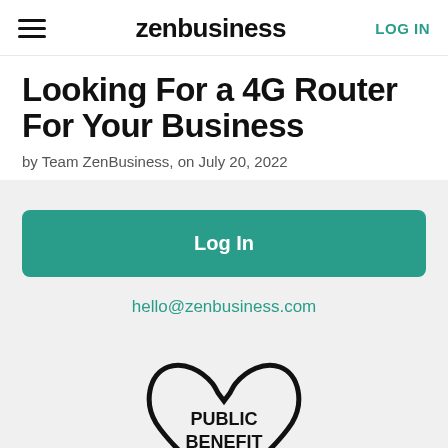zenbusiness | LOG IN
Looking For a 4G Router For Your Business
by Team ZenBusiness, on July 20, 2022
Log In
hello@zenbusiness.com
[Figure (logo): Heart-shaped badge with text PUBLIC BENEFIT CORP inside]